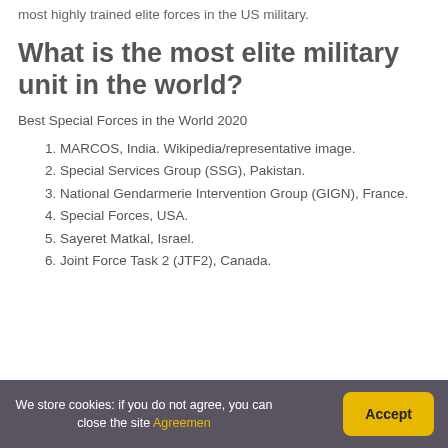most highly trained elite forces in the US military.
What is the most elite military unit in the world?
Best Special Forces in the World 2020
MARCOS, India. Wikipedia/representative image.
Special Services Group (SSG), Pakistan.
National Gendarmerie Intervention Group (GIGN), France.
Special Forces, USA.
Sayeret Matkal, Israel.
Joint Force Task 2 (JTF2), Canada.
We store cookies: if you do not agree, you can close the site Agreemen